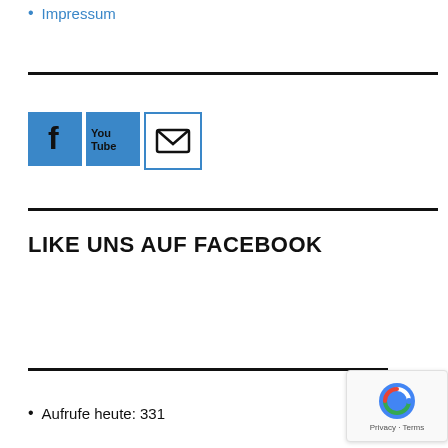Impressum
[Figure (other): Social media icons: Facebook (f), YouTube, and Email (envelope) buttons in blue square icons]
LIKE UNS AUF FACEBOOK
Aufrufe heute: 331